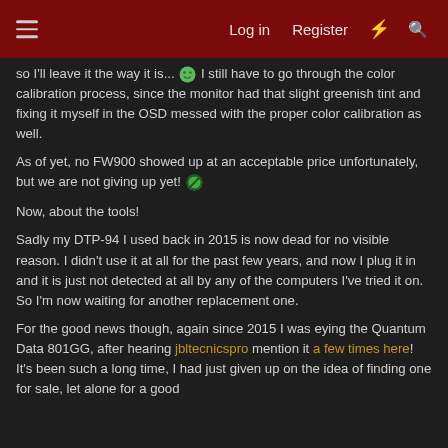Log in  Register
so I'll leave it the way it is... [emoji] I still have to go through the color calibration process, since the monitor had that slight greenish tint and fixing it myself in the OSD messed with the proper color calibration as well.
As of yet, no FW900 showed up at an acceptable price unfortunately, but we are not giving up yet! [emoji]
Now, about the tools!
Sadly my DTP-94 I used back in 2015 is now dead for no visible reason. I didn't use it at all for the past few years, and now I plug it in and it is just not detected at all by any of the computers I've tried it on. So I'm now waiting for another replacement one.
For the good news though, again since 2015 I was eying the Quantum Data 801GG, after hearing jbltecnicspro mention it a few times here! It's been such a long time, I had just given up on the idea of finding one for sale, let alone for a good price.